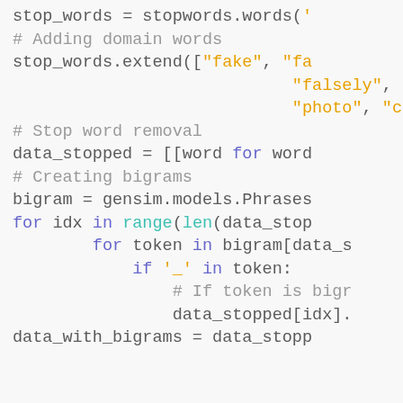[Figure (screenshot): Python source code snippet showing stop word removal and bigram creation. Code uses syntax highlighting with gray for comments, orange for string literals, purple/teal for keywords, and dark gray for identifiers.]